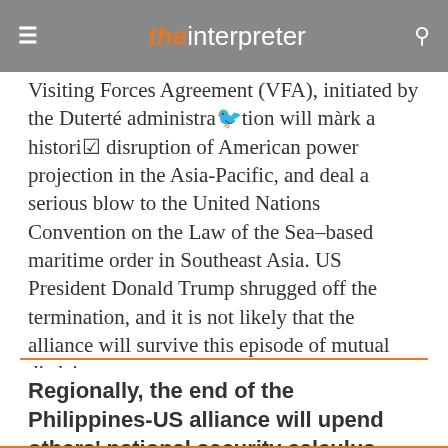the interpreter
Visiting Forces Agreement (VFA), initiated by the Duterte administration will mark a historic disruption of American power projection in the Asia-Pacific, and deal a serious blow to the United Nations Convention on the Law of the Sea–based maritime order in Southeast Asia. US President Donald Trump shrugged off the termination, and it is not likely that the alliance will survive this episode of mutual disdain.
Regionally, the end of the Philippines-US alliance will upend others' national security calculus.